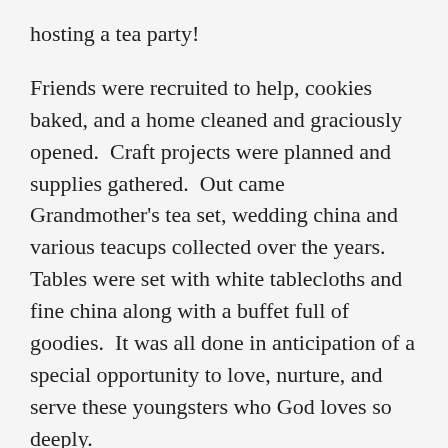hosting a tea party!
Friends were recruited to help, cookies baked, and a home cleaned and graciously opened.  Craft projects were planned and supplies gathered.  Out came Grandmother's tea set, wedding china and various teacups collected over the years.  Tables were set with white tablecloths and fine china along with a buffet full of goodies.  It was all done in anticipation of a special opportunity to love, nurture, and serve these youngsters who God loves so deeply.
Excited girls, helpers and hostesses gathered the day of the party.   The party began with everyone finding a seat at the tables then a blessing was prayed over the girls.  Food was chosen and tea poured with many lumps of sugar added along with milk.  Pinky fingers